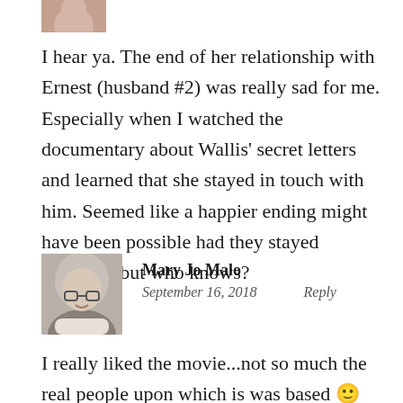[Figure (photo): Partial avatar photo of a person at top left, cropped]
I hear ya. The end of her relationship with Ernest (husband #2) was really sad for me. Especially when I watched the documentary about Wallis' secret letters and learned that she stayed in touch with him. Seemed like a happier ending might have been possible had they stayed together...but who knows?
[Figure (photo): Avatar photo of Mary Jo Malo, a woman with gray hair and glasses, smiling]
Mary Jo Malo
September 16, 2018    Reply
I really liked the movie...not so much the real people upon which is was based 🙂 Great post though, full of